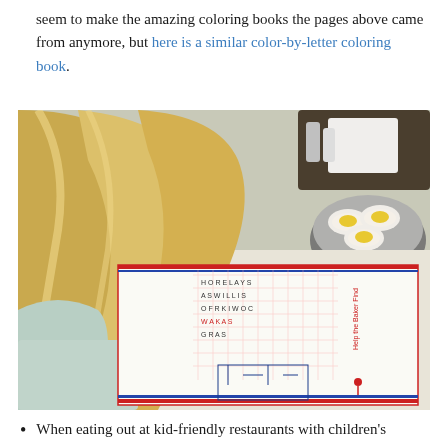seem to make the amazing coloring books the pages above came from anymore, but here is a similar color-by-letter coloring book.
[Figure (photo): A young blonde child leaning over a restaurant placemat activity sheet with a word search and maze puzzle, holding a crayon. In the background is a bowl of coffee creamers and condiment holders on a table.]
When eating out at kid-friendly restaurants with children's